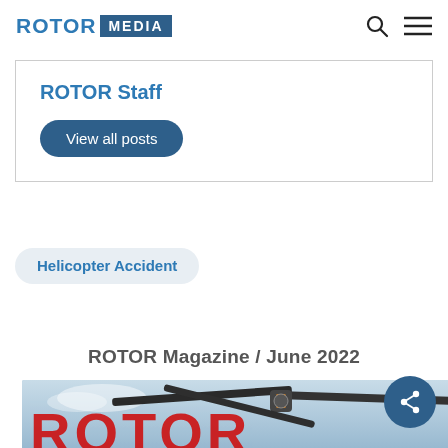ROTOR MEDIA
ROTOR Staff
View all posts
Helicopter Accident
ROTOR Magazine / June 2022
[Figure (photo): Photograph showing helicopter rotor blades and the ROTOR magazine logo text in red against a sky background]